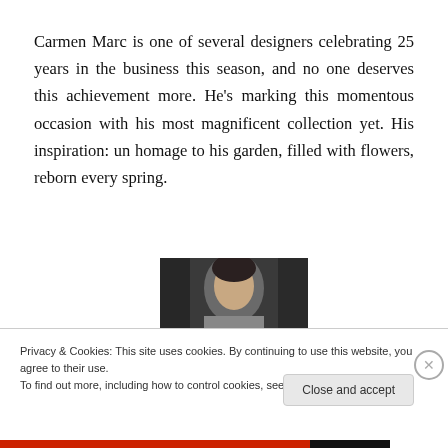Carmen Marc is one of several designers celebrating 25 years in the business this season, and no one deserves this achievement more. He's marking this momentous occasion with his most magnificent collection yet. His inspiration: un homage to his garden, filled with flowers, reborn every spring.
[Figure (photo): Fashion model on runway, close-up of face and shoulder, dark background]
Privacy & Cookies: This site uses cookies. By continuing to use this website, you agree to their use.
To find out more, including how to control cookies, see here: Cookie Policy
Close and accept